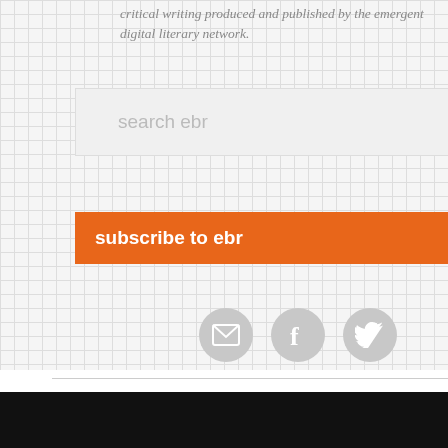critical writing produced and published by the emergent digital literary network.
search ebr
subscribe to ebr
[Figure (infographic): Three circular social media icons: envelope/email, Facebook (f), and Twitter (bird)]